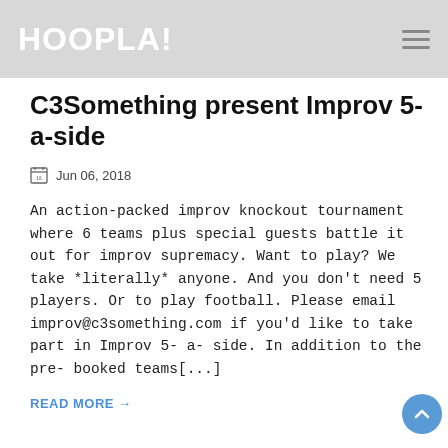HOOPLA!
C3Something present Improv 5-a-side
Jun 06, 2018
An action-packed improv knockout tournament where 6 teams plus special guests battle it out for improv supremacy. Want to play? We take *literally* anyone. And you don't need 5 players. Or to play football. Please email improv@c3something.com if you'd like to take part in Improv 5- a- side. In addition to the pre- booked teams[...]
READ MORE →